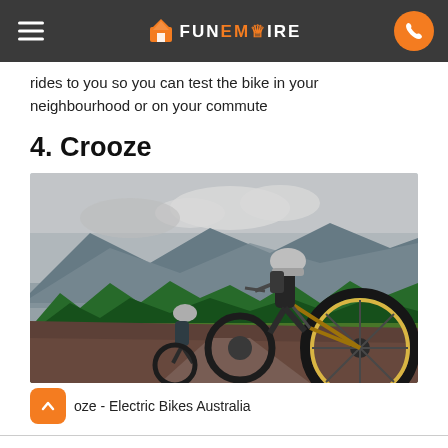FunEmpire
rides to you so you can test the bike in your neighbourhood or on your commute
4. Crooze
[Figure (photo): Two mountain bikers riding downhill on a dirt trail through alpine meadow with trees and mountains in the background. The lead rider wears a helmet and backpack on a gold/black bike.]
Crooze - Electric Bikes Australia